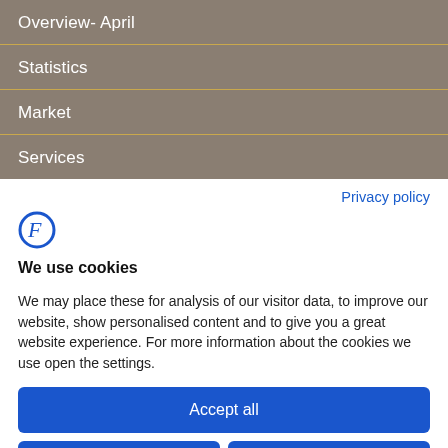Overview- April
Statistics
Market
Services
Privacy policy
[Figure (logo): Stylized letter F logo in blue]
We use cookies
We may place these for analysis of our visitor data, to improve our website, show personalised content and to give you a great website experience. For more information about the cookies we use open the settings.
Accept all
Deny
No, adjust